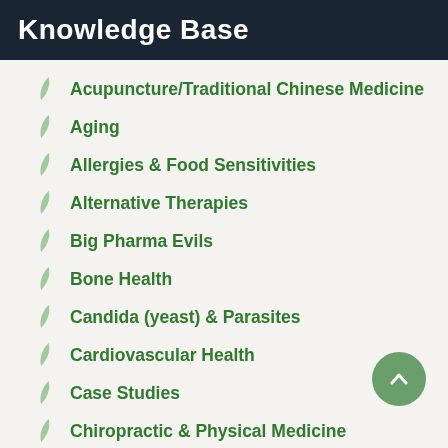Knowledge Base
Acupuncture/Traditional Chinese Medicine
Aging
Allergies & Food Sensitivities
Alternative Therapies
Big Pharma Evils
Bone Health
Candida (yeast) & Parasites
Cardiovascular Health
Case Studies
Chiropractic & Physical Medicine
Dermatology
Digestion
Diseases
Ear, Nose, & Throat